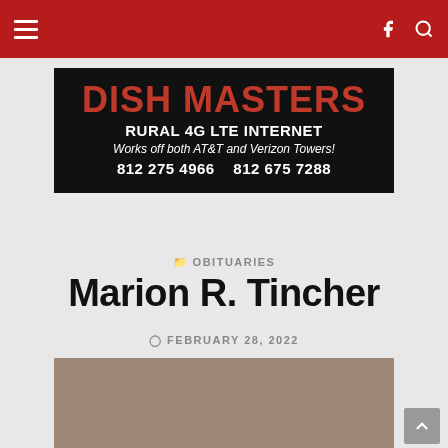Navigation bar with hamburger menu, Facebook and Search icons
[Figure (photo): Dish Masters advertisement banner: DISH MASTERS / RURAL 4G LTE INTERNET / Works off both AT&T and Verizon Towers! / 812 275 4966   812 675 7288]
OBITUARIES
Marion R. Tincher
FEBRUARY 28, 2022
[Figure (photo): Portrait photograph of Marion R. Tincher, a middle-aged man with thinning brown hair, against a brownish-gray studio background]